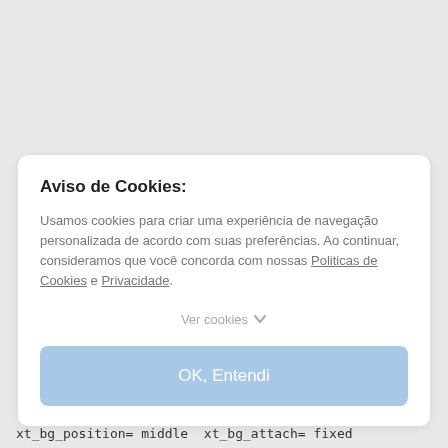Aviso de Cookies:
Usamos cookies para criar uma experiência de navegação personalizada de acordo com suas preferências. Ao continuar, consideramos que você concorda com nossas Politicas de Cookies e Privacidade.
Ver cookies
OK, Entendi
xt_bg_position= middle  xt_bg_attach= fixed